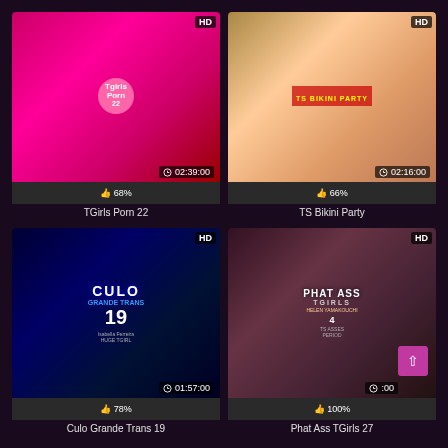[Figure (screenshot): Thumbnail for TGirls Porn 22 video with HD badge, duration 02:39:00, 68% rating]
TGirls Porn 22
[Figure (screenshot): Thumbnail for TS Bikini Party video with HD badge, duration 02:16:00, 66% rating]
TS Bikini Party
[Figure (screenshot): Thumbnail for Culo Grande Trans 19 video with HD badge, duration 01:57:00, 78% rating]
Culo Grande Trans 19
[Figure (screenshot): Thumbnail for Phat Ass TGirls video with HD badge, partially visible duration, 100% rating]
Phat Ass TGirls 27